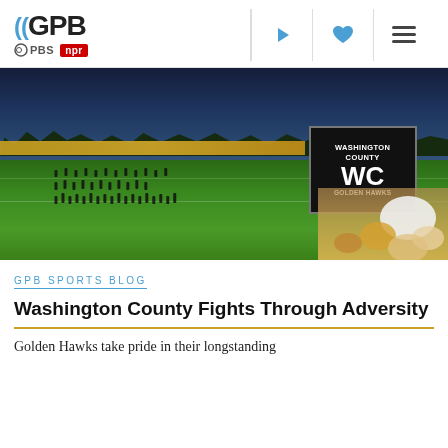GPB | PBS | NPR
[Figure (photo): Washington County Golden Hawks marching band on a football field at night, with school sign showing 'Washington County WC Golden Hawks', yellow school buses lined up in background, trees silhouetted against dusk sky, audience visible in lower right]
GPB SPORTS BLOG
Washington County Fights Through Adversity
Golden Hawks take pride in their longstanding